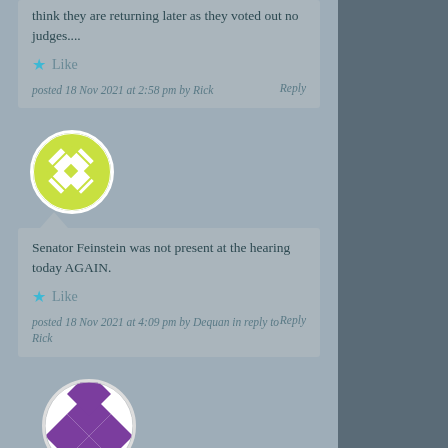think they are returning later as they voted out no judges....
Like
posted 18 Nov 2021 at 2:58 pm by Rick   Reply
[Figure (illustration): Yellow-green circle avatar with diamond/lattice pattern]
Senator Feinstein was not present at the hearing today AGAIN.
Like
posted 18 Nov 2021 at 4:09 pm by Dequan in reply to Rick   Reply
[Figure (illustration): White and purple diamond/checkerboard pattern avatar circle]
On the SJC website for todays entry it says:" The committee is in